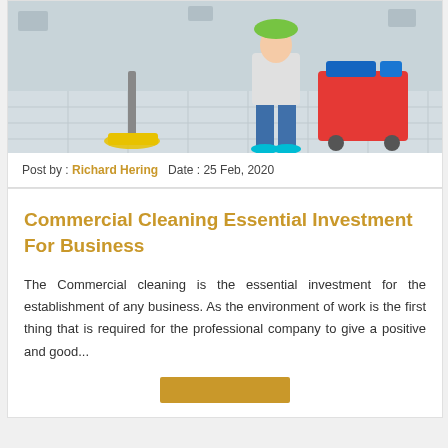[Figure (photo): A commercial cleaning worker mopping a tiled floor with a yellow mop, next to a blue and red cleaning cart with supplies.]
Post by : Richard Hering  Date : 25 Feb, 2020
Commercial Cleaning Essential Investment For Business
The Commercial cleaning is the essential investment for the establishment of any business. As the environment of work is the first thing that is required for the professional company to give a positive and good...
[Figure (other): A golden/tan colored rectangular button (Read More button).]